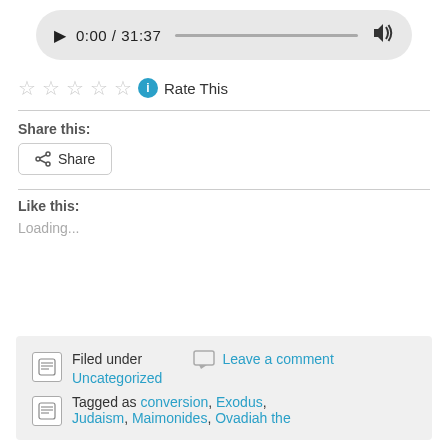[Figure (screenshot): Audio player widget showing play button, time 0:00 / 31:37, progress bar, and volume icon on a gray rounded background]
[Figure (screenshot): Five empty star rating widgets followed by a blue info circle and 'Rate This' text]
Share this:
[Figure (screenshot): Share button with share icon and 'Share' label]
Like this:
Loading...
Filed under  Leave a comment  Uncategorized
Tagged as conversion, Exodus, Judaism, Maimonides, Ovadiah the